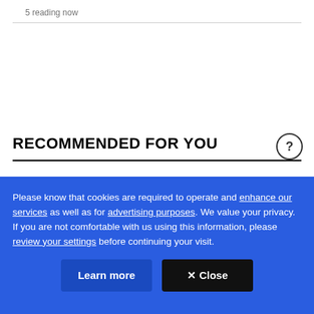5 reading now
RECOMMENDED FOR YOU
Please know that cookies are required to operate and enhance our services as well as for advertising purposes. We value your privacy. If you are not comfortable with us using this information, please review your settings before continuing your visit.
Learn more
✕ Close